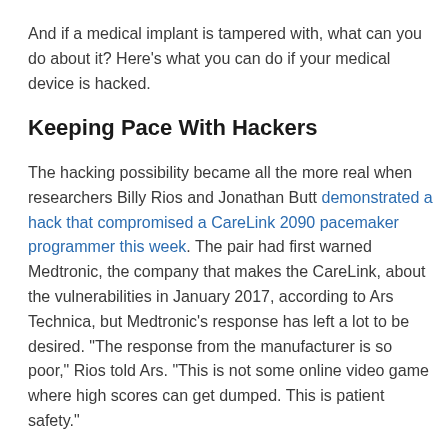And if a medical implant is tampered with, what can you do about it? Here's what you can do if your medical device is hacked.
Keeping Pace With Hackers
The hacking possibility became all the more real when researchers Billy Rios and Jonathan Butt demonstrated a hack that compromised a CareLink 2090 pacemaker programmer this week. The pair had first warned Medtronic, the company that makes the CareLink, about the vulnerabilities in January 2017, according to Ars Technica, but Medtronic's response has left a lot to be desired. "The response from the manufacturer is so poor," Rios told Ars. "This is not some online video game where high scores can get dumped. This is patient safety."
For its part, Medtronic claims it addressed the issues already,